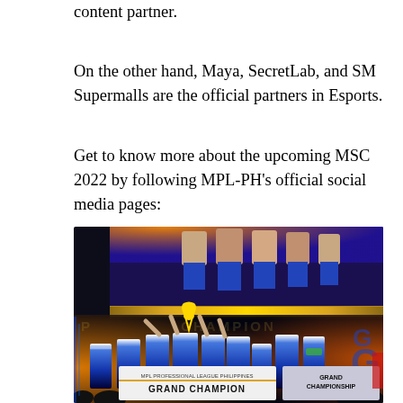content partner.
On the other hand, Maya, SecretLab, and SM Supermalls are the official partners in Esports.
Get to know more about the upcoming MSC 2022 by following MPL-PH's official social media pages:
[Figure (photo): Esports team celebrating on stage holding a trophy aloft, wearing blue and white jerseys. A large screen behind shows the team members' faces. A banner reads 'GRAND CHAMPION' in the foreground. The stage has colorful lighting with orange and blue tones.]